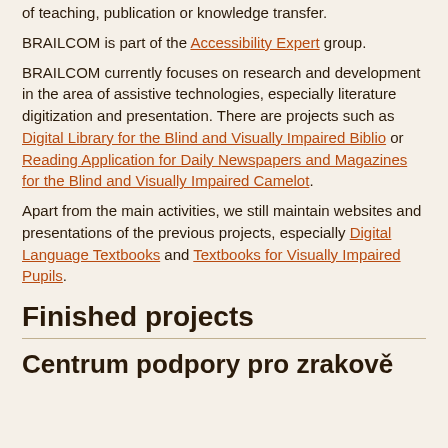of teaching, publication or knowledge transfer.
BRAILCOM is part of the Accessibility Expert group.
BRAILCOM currently focuses on research and development in the area of assistive technologies, especially literature digitization and presentation. There are projects such as Digital Library for the Blind and Visually Impaired Biblio or Reading Application for Daily Newspapers and Magazines for the Blind and Visually Impaired Camelot.
Apart from the main activities, we still maintain websites and presentations of the previous projects, especially Digital Language Textbooks and Textbooks for Visually Impaired Pupils.
Finished projects
Centrum podpory pro zrakově